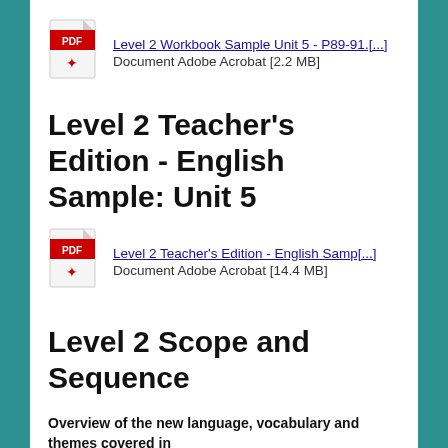[Figure (other): PDF icon for Level 2 Workbook Sample Unit 5]
Level 2 Workbook Sample Unit 5 - P89-91.[...]
Document Adobe Acrobat [2.2 MB]
Level 2 Teacher's Edition - English Sample: Unit 5
[Figure (other): PDF icon for Level 2 Teacher's Edition - English Sample]
Level 2 Teacher's Edition - English Samp[...]
Document Adobe Acrobat [14.4 MB]
Level 2 Scope and Sequence
Overview of the new language, vocabulary and themes covered in